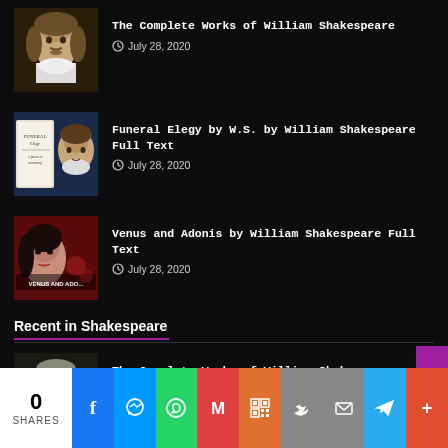The Complete Works of William Shakespeare
© July 28, 2020
Funeral Elegy by W.S. by William Shakespeare Full Text
© July 28, 2020
Venus and Adonis by William Shakespeare Full Text
© July 28, 2020
Recent in Shakespeare
The Complete Works of William Shakespeare
© July 28, 2020
0 SHARES | Facebook | Messenger | WhatsApp | Gmail | QR | Twitter | Mail | Telegram | More